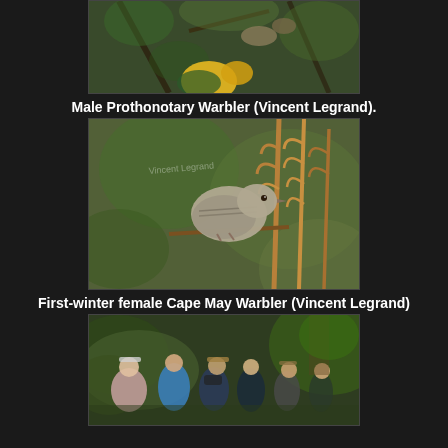[Figure (photo): Partial view of a Male Prothonotary Warbler perched on branches, top portion only visible against green bokeh background]
Male Prothonotary Warbler (Vincent Legrand).
[Figure (photo): First-winter female Cape May Warbler perched on a plant stem with curling fronds, grey-brown plumage, against green bokeh background. Watermark 'Vincent Legrand' visible.]
First-winter female Cape May Warbler (Vincent Legrand)
[Figure (photo): Group of birdwatchers/birders in a forested area with moss-covered rocks, looking upward with binoculars and cameras]